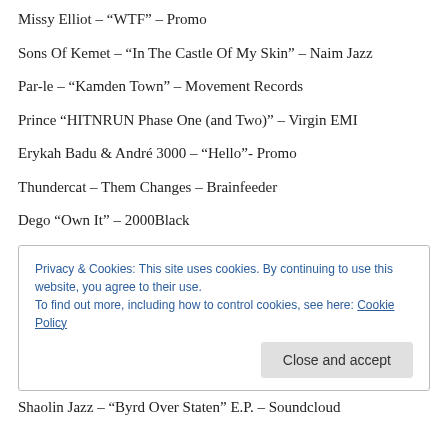Missy Elliot – “WTF” – Promo
Sons Of Kemet – “In The Castle Of My Skin” – Naim Jazz
Par-le – “Kamden Town” – Movement Records
Prince “HITNRUN Phase One (and Two)” – Virgin EMI
Erykah Badu & André 3000 – “Hello”- Promo
Thundercat – Them Changes – Brainfeeder
Dego “Own It” – 2000Black
Privacy & Cookies: This site uses cookies. By continuing to use this website, you agree to their use.
To find out more, including how to control cookies, see here: Cookie Policy
Shaolin Jazz – “Byrd Over Staten” E.P. – Soundcloud